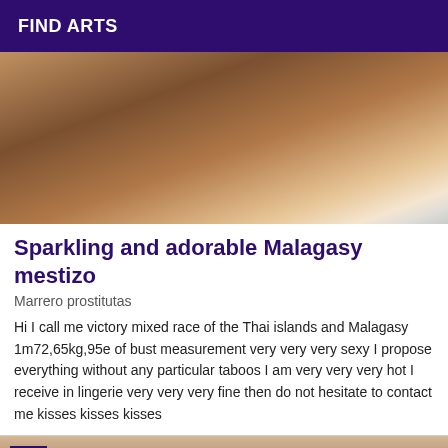FIND ARTS
[Figure (photo): Partial photo of a person near a window with pink clothing]
Sparkling and adorable Malagasy mestizo
Marrero prostitutas
Hi I call me victory mixed race of the Thai islands and Malagasy 1m72,65kg,95e of bust measurement very very very sexy I propose everything without any particular taboos I am very very very hot I receive in lingerie very very very fine then do not hesitate to contact me kisses kisses kisses
[Figure (photo): Partial photo at bottom with VIP badge overlay]